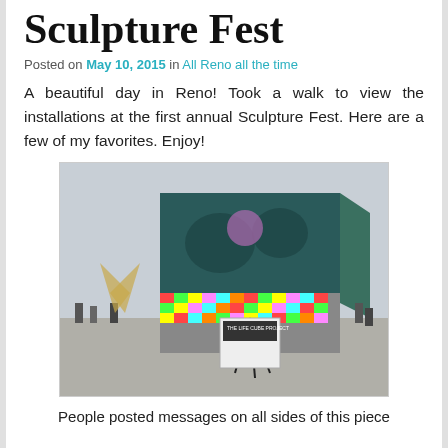Sculpture Fest
Posted on May 10, 2015 in All Reno all the time
A beautiful day in Reno! Took a walk to view the installations at the first annual Sculpture Fest. Here are a few of my favorites. Enjoy!
[Figure (photo): Outdoor sculpture installation covered with colorful sticky notes on the lower half and graffiti art on the upper portion. A sign reads 'The Life Cube Project'. People and another sculpture visible in the background.]
People posted messages on all sides of this piece